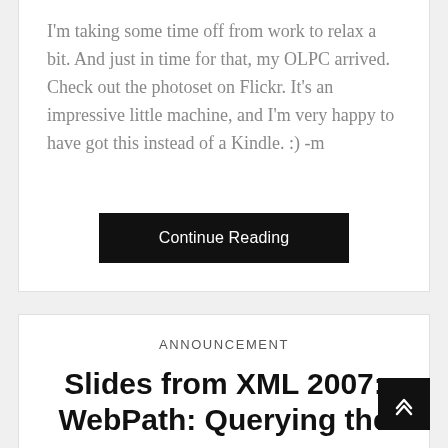I'm taking some time off from work to relax a bit. And just in time for that, my OLPC arrived. Check out the photoset on Flickr. It's an impressive little machine, and I'm very happy to have got this instead of a Kindle. :) -m
Continue Reading
ANNOUNCEMENT
Slides from XML 2007: WebPath: Querying the